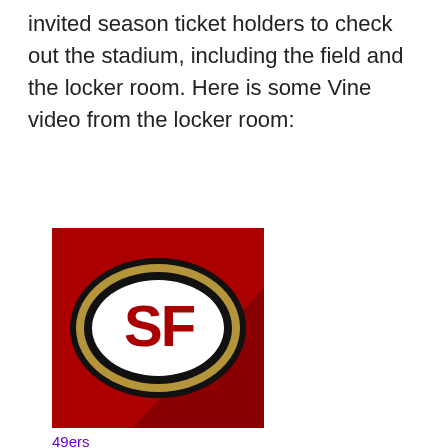invited season ticket holders to check out the stadium, including the field and the locker room. Here is some Vine video from the locker room:
[Figure (logo): San Francisco 49ers logo — red background with the oval SF logo in black, gold, and white]
49ers
Jul 21, 2013
Get
[Figure (photo): Photo of the 49ers locker room showing red and black lockers with equipment]